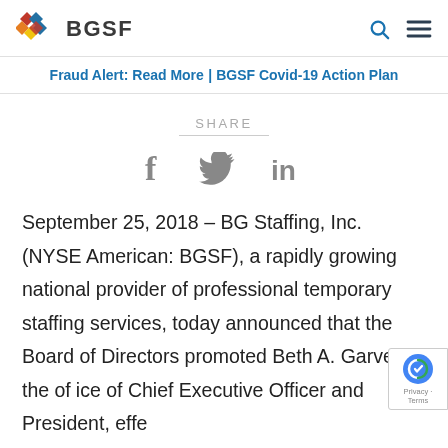[Figure (logo): BGSF logo with colorful diamond pattern and BGSF text]
Fraud Alert: Read More | BGSF Covid-19 Action Plan
SHARE
[Figure (infographic): Social share icons: Facebook, Twitter, LinkedIn]
September 25, 2018 – BG Staffing, Inc. (NYSE American: BGSF), a rapidly growing national provider of professional temporary staffing services, today announced that the Board of Directors promoted Beth A. Garvey to the office of Chief Executive Officer and President, effective